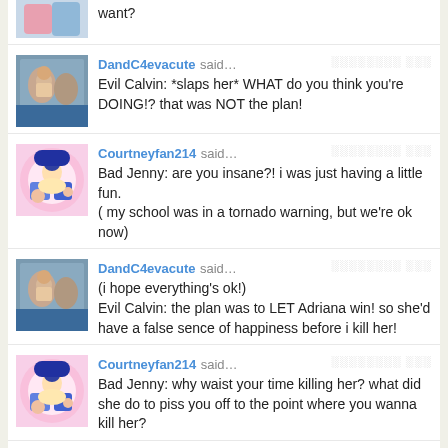want?
DandC4evacute said… Evil Calvin: *slaps her* WHAT do you think you're DOING!? that was NOT the plan!
Courtneyfan214 said… Bad Jenny: are you insane?! i was just having a little fun. ( my school was in a tornado warning, but we're ok now)
DandC4evacute said… (i hope everything's ok!) Evil Calvin: the plan was to LET Adriana win! so she'd have a false sence of happiness before i kill her!
Courtneyfan214 said… Bad Jenny: why waist your time killing her? what did she do to piss you off to the point where you wanna kill her?